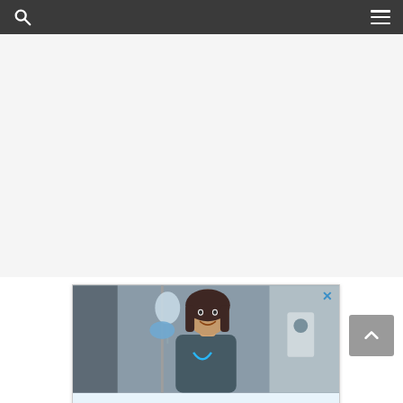Navigation bar with search and menu icons
[Figure (photo): Advertisement card showing a smiling female nursing student in scrubs holding an IV bag with blue gloves in a hospital setting, with the caption 'A Better Nursing Experience.']
A Better Nursing Experience.